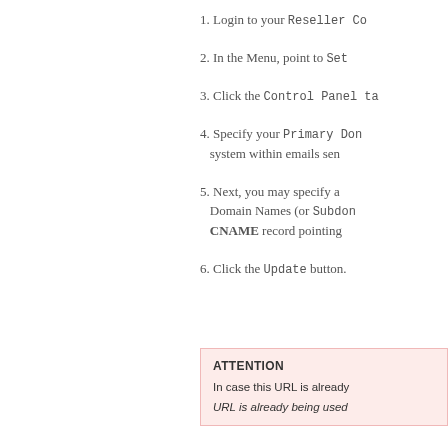1. Login to your Reseller Co
2. In the Menu, point to Set
3. Click the Control Panel ta
4. Specify your Primary Don. system within emails sen
5. Next, you may specify an Domain Names (or Subdon CNAME record pointing
6. Click the Update button.
ATTENTION
In case this URL is already
URL is already being used